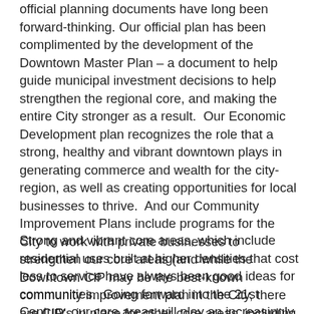official planning documents have long been forward-thinking. Our official plan has been complimented by the development of the Downtown Master Plan – a document to help guide municipal investment decisions to help strengthen the regional core, and making the entire City stronger as a result.  Our Economic Development plan recognizes the role that a strong, healthy and vibrant downtown plays in generating commerce and wealth for the city-region, as well as creating opportunities for local businesses to thrive.  And our Community Improvement Plans include programs for the City to work with private businesses to strengthen our core areas (and while the Downtown CIP may be the best-known community improvement plan in the City, there are CIP's in place for other core areas, including the Flour Mill/Donovan, West End, Capreol and a new Town Centre CIP for many of the local core areas in the outlying communities).
Strong and vibrant core areas, which include residential uses built at higher densities that cost less to service have always been good ideas for communities.  Going forward into the 21st Century, our core areas will play an increasingly important role in creating sustainable communities.  Already,